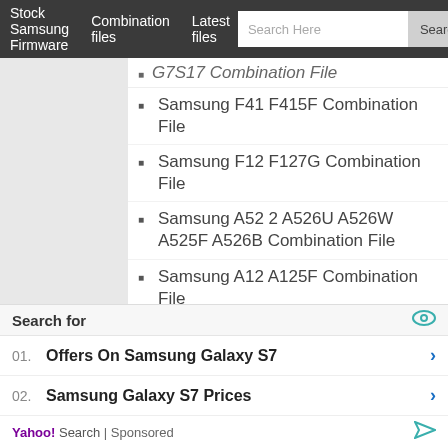Stock Samsung Firmware   Combination files   Latest files
G7S17 Combination File (partial, truncated at top)
Samsung F41 F415F Combination File
Samsung F12 F127G Combination File
Samsung A52 2 A526U A526W A525F A526B Combination File
Samsung A12 A125F Combination File
Samsung A02 A022F Combination File
Samsung M01 M015G Combination File
Samsung S21 G991U G998U G9910 G991B Combination File
Search for
01. Offers On Samsung Galaxy S7
02. Samsung Galaxy S7 Prices
Yahoo! Search | Sponsored